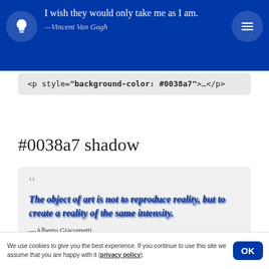I wish they would only take me as I am. —Vincent Van Gogh
<p style="background-color: #0038a7">…</p>
#0038a7 shadow
The object of art is not to reproduce reality, but to create a reality of the same intensity. —Alberto Giacometti
<p style="text-shadow: 0.1em 0.1em 0.15em #0038a7">…
</p>
We use cookies to give you the best experience. If you continue to use this site we assume that you are happy with it (privacy policy).